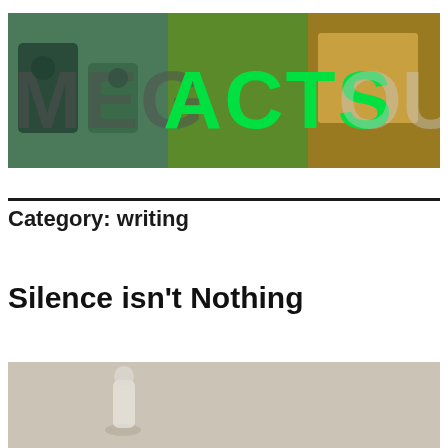[Figure (photo): Blog header image with 'MEG ACTS OUT' text overlaid in large green letters on a collage of outdoor photos]
Category: writing
Silence isn't Nothing
[Figure (photo): Blurred photo of small figurine or toy on a neutral background]